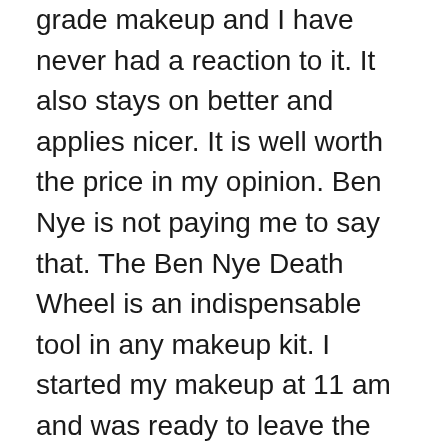grade makeup and I have never had a reaction to it. It also stays on better and applies nicer. It is well worth the price in my opinion. Ben Nye is not paying me to say that. The Ben Nye Death Wheel is an indispensable tool in any makeup kit. I started my makeup at 11 am and was ready to leave the house at 2:15. A lot of preparation is required when you are using latex. I headed over to my friend's house for a drink and then off we went. We turned every head we passed as we walked the 8 or so blocks to The Vancouver Art Gallery. We had intended to get there earlier to take pictures but ended up getting there a couple of minutes before the walk started. People usually stand on the sidewalk and watch but this year for some reason people were on the road and it made a narrow path for us walking undead. I have no idea how many people showed up who were actually dressed like zombies but I think this year it was alright based on the buzz I got to start...